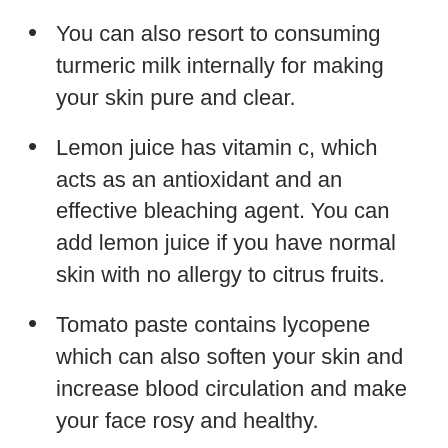You can also resort to consuming turmeric milk internally for making your skin pure and clear.
Lemon juice has vitamin c, which acts as an antioxidant and an effective bleaching agent. You can add lemon juice if you have normal skin with no allergy to citrus fruits.
Tomato paste contains lycopene which can also soften your skin and increase blood circulation and make your face rosy and healthy.
Indian sarsaparilla root is also a good choice. It is essentially – anti-bacterial, antiseptic, and anti-inflammatory in action. Root paste can be applied to the skin, it also reduces excess heat energy in your skin and thus decreases the possibility of heat rashes